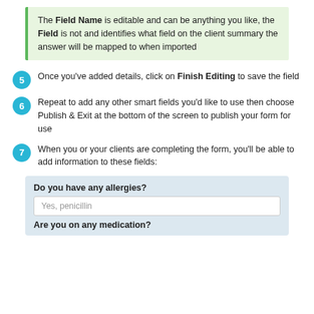The Field Name is editable and can be anything you like, the Field is not and identifies what field on the client summary the answer will be mapped to when imported
5  Once you've added details, click on Finish Editing to save the field
6  Repeat to add any other smart fields you'd like to use then choose Publish & Exit at the bottom of the screen to publish your form for use
7  When you or your clients are completing the form, you'll be able to add information to these fields:
[Figure (screenshot): Form preview showing question 'Do you have any allergies?' with answer 'Yes, penicillin' in a text field, and a second question 'Are you on any medication?' partially visible]